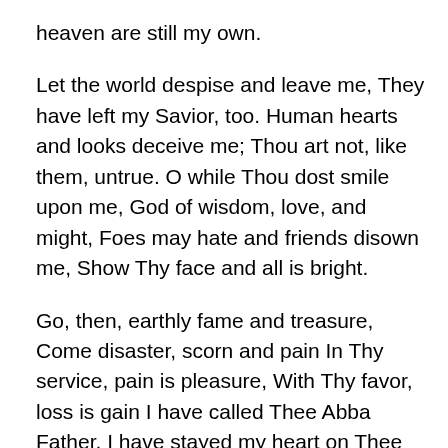heaven are still my own.
Let the world despise and leave me, They have left my Savior, too. Human hearts and looks deceive me; Thou art not, like them, untrue. O while Thou dost smile upon me, God of wisdom, love, and might, Foes may hate and friends disown me, Show Thy face and all is bright.
Go, then, earthly fame and treasure, Come disaster, scorn and pain In Thy service, pain is pleasure, With Thy favor, loss is gain I have called Thee Abba Father, I have stayed my heart on Thee Storms may howl, and clouds may gather; All must work for good to me.
Soul, then know thy full salvation Rise o’er sin and fear and care Joy to find in every station, Something still to do or bear. Think what Spirit dwells within thee, Think what